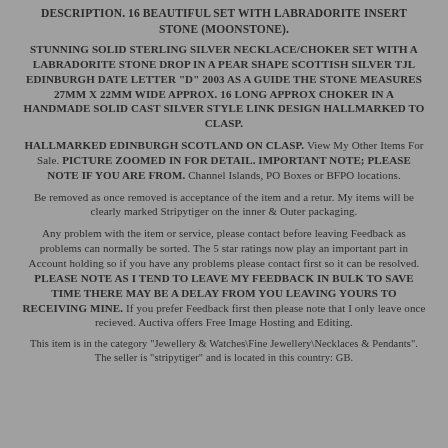DESCRIPTION. 16 BEAUTIFUL SET WITH LABRADORITE INSERT STONE (MOONSTONE).
STUNNING SOLID STERLING SILVER NECKLACE/CHOKER SET WITH A LABRADORITE STONE DROP IN A PEAR SHAPE SCOTTISH SILVER TJL EDINBURGH DATE LETTER "D" 2003 AS A GUIDE THE STONE MEASURES 27MM X 22MM WIDE APPROX. 16 LONG APPROX CHOKER IN A HANDMADE SOLID CAST SILVER STYLE LINK DESIGN HALLMARKED TO CLASP.
HALLMARKED EDINBURGH SCOTLAND ON CLASP. View My Other Items For Sale. PICTURE ZOOMED IN FOR DETAIL. IMPORTANT NOTE; PLEASE NOTE IF YOU ARE FROM. Channel Islands, PO Boxes or BFPO locations.
Be removed as once removed is acceptance of the item and a retur. My items will be clearly marked Stripytiger on the inner & Outer packaging.
Any problem with the item or service, please contact before leaving Feedback as problems can normally be sorted. The 5 star ratings now play an important part in Account holding so if you have any problems please contact first so it can be resolved. PLEASE NOTE AS I TEND TO LEAVE MY FEEDBACK IN BULK TO SAVE TIME THERE MAY BE A DELAY FROM YOU LEAVING YOURS TO RECEIVING MINE. If you prefer Feedback first then please note that I only leave once recieved. Auctiva offers Free Image Hosting and Editing.
This item is in the category "Jewellery & Watches\Fine Jewellery\Necklaces & Pendants". The seller is "stripytiger" and is located in this country: GB.